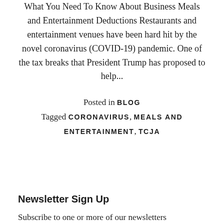What You Need To Know About Business Meals and Entertainment Deductions Restaurants and entertainment venues have been hard hit by the novel coronavirus (COVID-19) pandemic. One of the tax breaks that President Trump has proposed to help...
Posted in BLOG Tagged CORONAVIRUS, MEALS AND ENTERTAINMENT, TCJA
Newsletter Sign Up
Subscribe to one or more of our newsletters